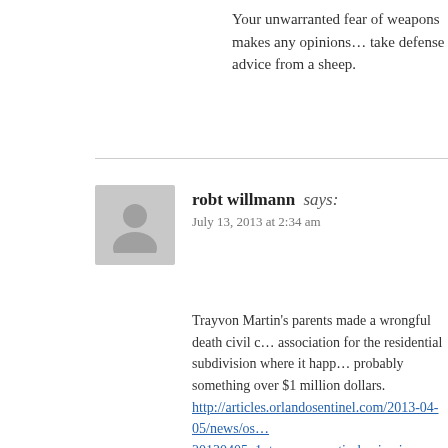Your unwarranted fear of weapons makes any opinions... take defense advice from a sheep.
robt willmann says:
July 13, 2013 at 2:34 am
Trayvon Martin's parents made a wrongful death civil ... association for the residential subdivision where it happ... probably something over $1 million dollars. http://articles.orlandosentinel.com/2013-04-05/news/os... 20130405_1_trayvon-martin-benjamin-crump-george-z... Zimmerman was not a party to the lawsuit, but regardle... trial, Trayvon's parents will probably file a civil suit ag... that. I don't know if Florida law provides that a guilty verdi... evidence of civil liability in a civil lawsuit that could g... Even if Zimmerman is found not guilty, he can probabl... occurred after the O.J. Simpson criminal trial. I would...